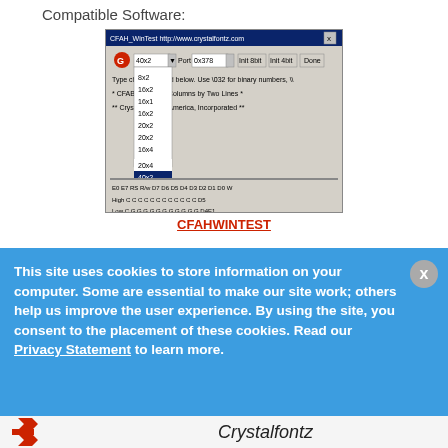Compatible Software:
[Figure (screenshot): CFAH_WinTest application window showing a dropdown menu with various LCD size options (8x2, 16x2, 16x1, 16x2, 20x2, 20x2, 16x4, 20x4, 40x2, 8x4 highlighted) and display output fields showing 'Forty Columns by Two Lines' and 'Crystalfontz America, Incorporated', with radio button controls at the bottom for High/Low bit settings]
CFAHWINTEST
This site uses cookies to store information on your computer. Some are essential to make our site work; others help us improve the user experience. By using the site, you consent to the placement of these cookies. Read our Privacy Statement to learn more.
[Figure (logo): Crystalfontz logo with red arrow/chevron icon and 'Crystalfontz' text, with 'Product Menu' button overlay]
Crystalfontz America, Inc.